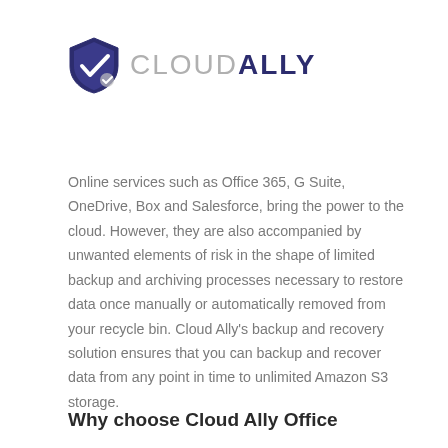[Figure (logo): CloudAlly logo: a dark blue shield with a white checkmark icon on the left, followed by the word CLOUDALLY in large text where CLOUD is gray and ALLY is dark navy.]
Online services such as Office 365, G Suite, OneDrive, Box and Salesforce, bring the power to the cloud. However, they are also accompanied by unwanted elements of risk in the shape of limited backup and archiving processes necessary to restore data once manually or automatically removed from your recycle bin. Cloud Ally’s backup and recovery solution ensures that you can backup and recover data from any point in time to unlimited Amazon S3 storage.
Why choose Cloud Ally Office